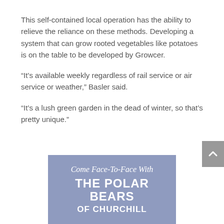This self-contained local operation has the ability to relieve the reliance on these methods. Developing a system that can grow rooted vegetables like potatoes is on the table to be developed by Growcer.
“It’s available weekly regardless of rail service or air service or weather,” Basler said.
“It’s a lush green garden in the dead of winter, so that’s pretty unique.”
[Figure (advertisement): Advertisement with blue-gray background reading 'Come Face-To-Face With THE POLAR BEARS OF CHURCHILL']